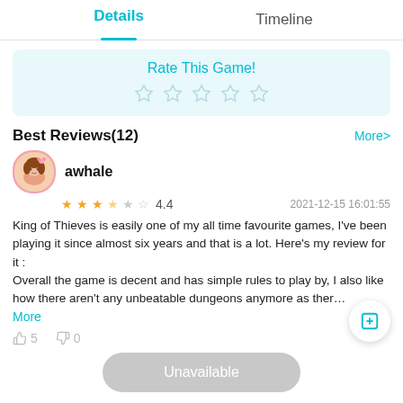Details | Timeline
[Figure (other): Rate This Game section with 5 empty star icons on light blue background]
Best Reviews(12)
More>
[Figure (illustration): User avatar - anime style character with pink flower]
awhale
4.4  2021-12-15 16:01:55
King of Thieves is easily one of my all time favourite games, I've been playing it since almost six years and that is a lot. Here's my review for it :
Overall the game is decent and has simple rules to play by, I also like how there aren't any unbeatable dungeons anymore as ther…
More
👍5   👎0
Unavailable